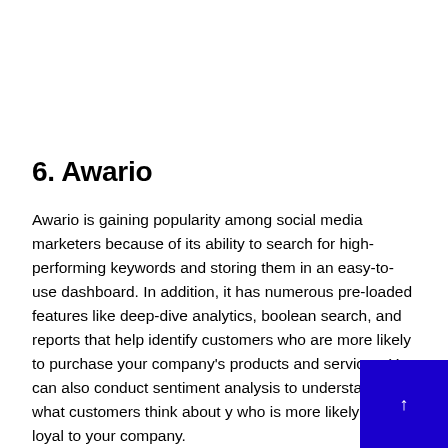6. Awario
Awario is gaining popularity among social media marketers because of its ability to search for high-performing keywords and storing them in an easy-to-use dashboard. In addition, it has numerous pre-loaded features like deep-dive analytics, boolean search, and reports that help identify customers who are more likely to purchase your company's products and services. You can also conduct sentiment analysis to understand what customers think about y who is more likely to stay loyal to your company.